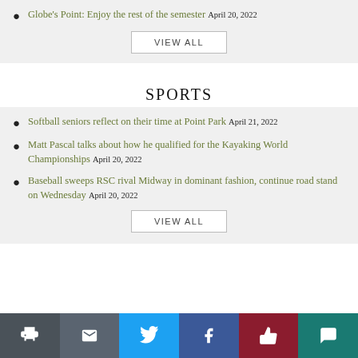Globe's Point: Enjoy the rest of the semester April 20, 2022
VIEW ALL
SPORTS
Softball seniors reflect on their time at Point Park April 21, 2022
Matt Pascal talks about how he qualified for the Kayaking World Championships April 20, 2022
Baseball sweeps RSC rival Midway in dominant fashion, continue road stand on Wednesday April 20, 2022
VIEW ALL
Print | Email | Twitter | Facebook | Like | Comment